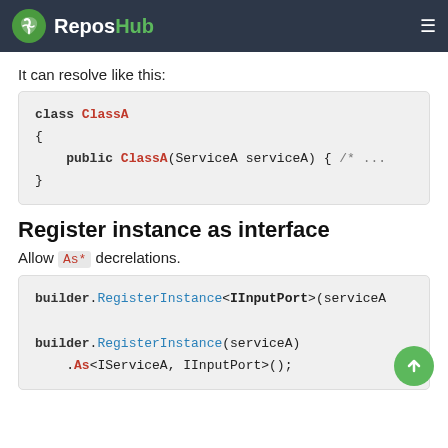ReposHub
It can resolve like this:
[Figure (screenshot): Code block showing: class ClassA { public ClassA(ServiceA serviceA) { /* ... */ } }]
Register instance as interface
Allow As* decrelations.
[Figure (screenshot): Code block showing: builder.RegisterInstance<IInputPort>(serviceA)  builder.RegisterInstance(serviceA)  .As<IServiceA, IInputPort>();]